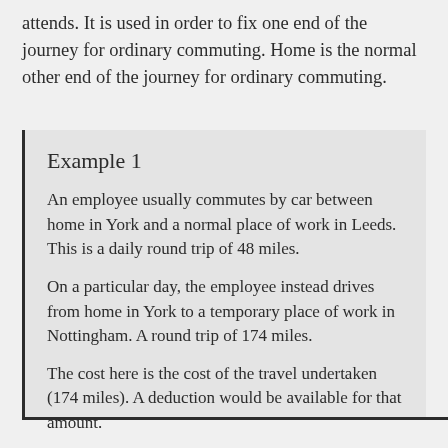attends. It is used in order to fix one end of the journey for ordinary commuting. Home is the normal other end of the journey for ordinary commuting.
Example 1
An employee usually commutes by car between home in York and a normal place of work in Leeds. This is a daily round trip of 48 miles.
On a particular day, the employee instead drives from home in York to a temporary place of work in Nottingham. A round trip of 174 miles.
The cost here is the cost of the travel undertaken (174 miles). A deduction would be available for that amount.